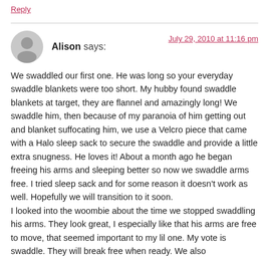Reply
Alison says:
July 29, 2010 at 11:16 pm
We swaddled our first one. He was long so your everyday swaddle blankets were too short. My hubby found swaddle blankets at target, they are flannel and amazingly long! We swaddle him, then because of my paranoia of him getting out and blanket suffocating him, we use a Velcro piece that came with a Halo sleep sack to secure the swaddle and provide a little extra snugness. He loves it! About a month ago he began freeing his arms and sleeping better so now we swaddle arms free. I tried sleep sack and for some reason it doesn't work as well. Hopefully we will transition to it soon.
I looked into the woombie about the time we stopped swaddling his arms. They look great, I especially like that his arms are free to move, that seemed important to my lil one. My vote is swaddle. They will break free when ready. We also